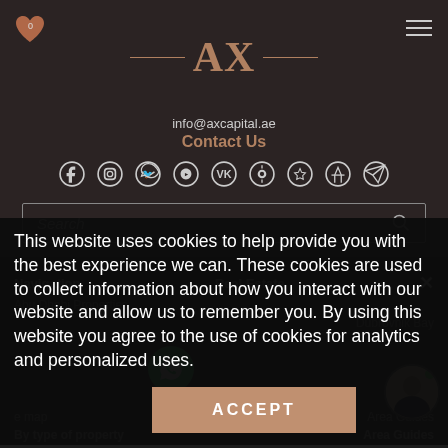[Figure (logo): AX Capital logo with decorative lines on dark background]
info@axcapital.ae
Contact Us
[Figure (infographic): Social media icons row: Facebook, Instagram, Twitter, WhatsApp, YouTube, VK, Odnoklassniki, Pinterest, Telegram]
[Figure (screenshot): Search input box with placeholder text 'Search' and magnifying glass icon]
Navigation
Real Estate
This website uses cookies to help provide you with the best experience we can. These cookies are used to collect information about how you interact with our website and allow us to remember you. By using this website you agree to the use of cookies for analytics and personalized uses.
ACCEPT
Area Guides
By type of property
Area Guides